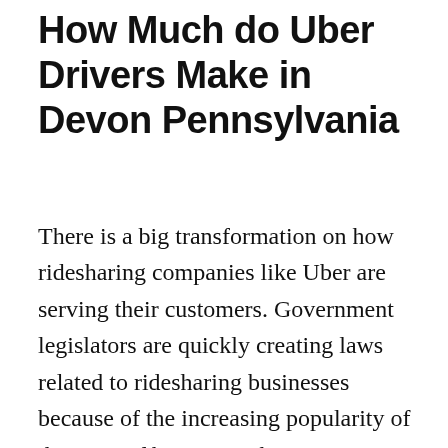How Much do Uber Drivers Make in Devon Pennsylvania
There is a big transformation on how ridesharing companies like Uber are serving their customers. Government legislators are quickly creating laws related to ridesharing businesses because of the increasing popularity of this type of business. This is quite normal in a place where numerous people are using the service. One important law that was designed and implemented for Uber